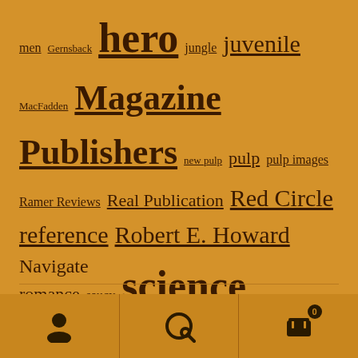men Gernsback hero jungle juvenile MacFadden Magazine Publishers new pulp pulp pulp images Ramer Reviews Real Publication Red Circle reference Robert E. Howard romance saucy science fiction sea stories spicy sports Tarzan Pastiche Thrilling Trojan war western World War I
Navigate
New Auction Site
My Account